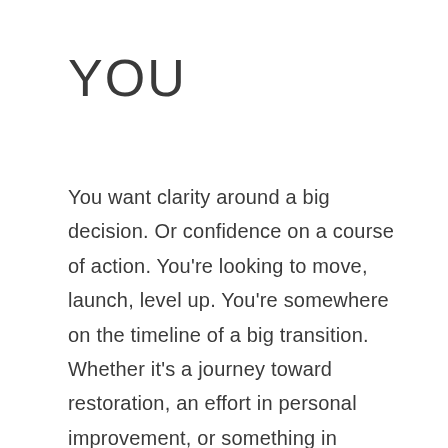YOU
You want clarity around a big decision. Or confidence on a course of action. You're looking to move, launch, level up. You're somewhere on the timeline of a big transition. Whether it's a journey toward restoration, an effort in personal improvement, or something in between, you've arrived at the realization that changes are in order; you cannot simply remain.